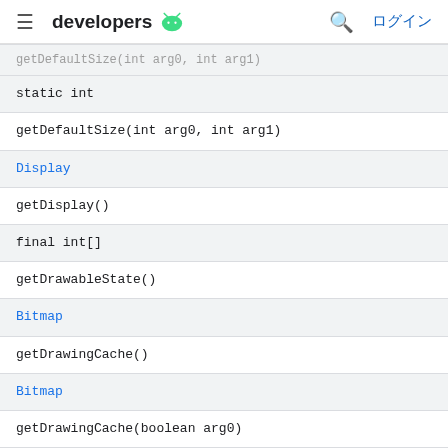developers (android logo) ログイン
| (partial row — truncated) |
| static int |
| getDefaultSize(int arg0, int arg1) |
| Display |
| getDisplay() |
| final int[] |
| getDrawableState() |
| Bitmap |
| getDrawingCache() |
| Bitmap |
| getDrawingCache(boolean arg0) |
| int |
| getDrawingCacheBackgroundColor() |
| int |